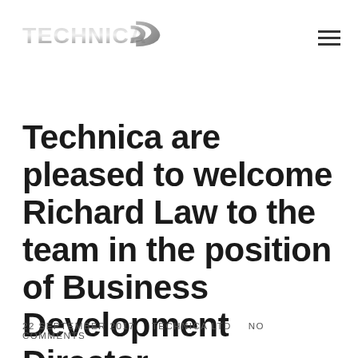TECHNICA
Technica are pleased to welcome Richard Law to the team in the position of Business Development Director
22 SEPTEMBER 2017   TECHNICA LTD   NO COMMENTS